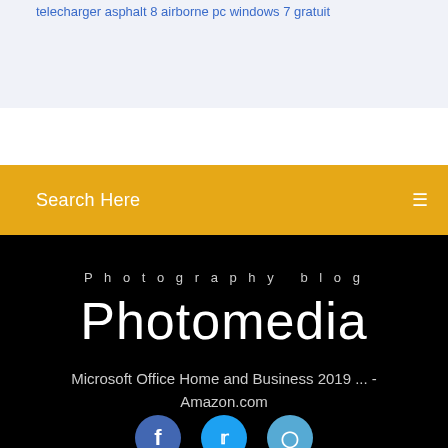telecharger asphalt 8 airborne pc windows 7 gratuit
Search Here
Photography blog
Photomedia
Microsoft Office Home and Business 2019 ... - Amazon.com
[Figure (other): Social media icons: Facebook, Twitter, Instagram circles partially visible at bottom]